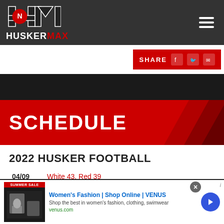[Figure (logo): HuskerMax logo with HM block letters and Nebraska state icon]
[Figure (screenshot): Share button bar with SHARE text and social media icons on red background]
SCHEDULE
2022 HUSKER FOOTBALL
| Date | Game | Result/Time |
| --- | --- | --- |
| 04/09 | White 43, Red 39 |  |
| 08/27 | @ Northwestern* | L 28-31 |
| 09/03 | North Dakota | 2:30 PM |
| 09/10 | Georgia Southern | 6:30 PM |
[Figure (screenshot): Advertisement: Women's Fashion Shop Online VENUS - Shop the best in women's fashion, clothing, swimwear. venus.com]